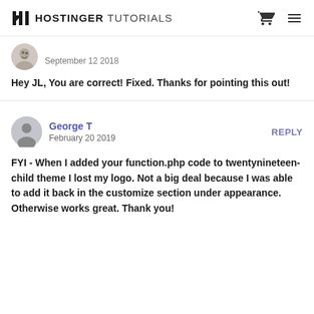HOSTINGER TUTORIALS
September 12 2018
Hey JL, You are correct! Fixed. Thanks for pointing this out!
George T
February 20 2019
REPLY
FYI - When I added your function.php code to twentynineteen-child theme I lost my logo. Not a big deal because I was able to add it back in the customize section under appearance. Otherwise works great. Thank you!